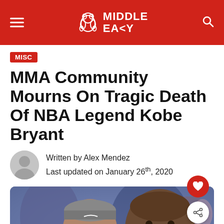MIDDLE EASY
MISC
MMA Community Mourns On Tragic Death Of NBA Legend Kobe Bryant
Written by Alex Mendez
Last updated on January 26th, 2020
[Figure (photo): Photo of Kobe Bryant smiling with a young person wearing a Nike beanie hat, appearing to be a father-daughter moment]